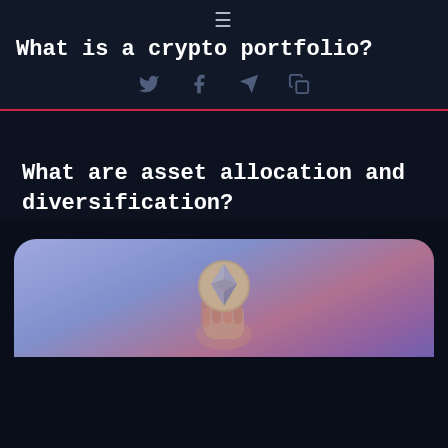≡
What is a crypto portfolio?
What are asset allocation and diversification?
[Figure (photo): A hand holding an Ethereum coin against a purple/blue background]